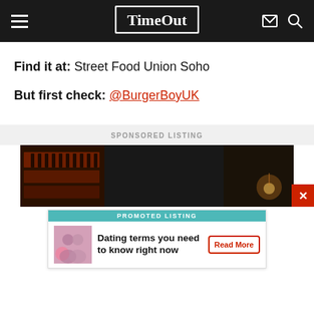Time Out
Find it at: Street Food Union Soho
But first check: @BurgerBoyUK
SPONSORED LISTING
[Figure (photo): Dark bar interior with backlit shelves of bottles, dim warm lighting]
PROMOTED LISTING
Dating terms you need to know right now
Read More